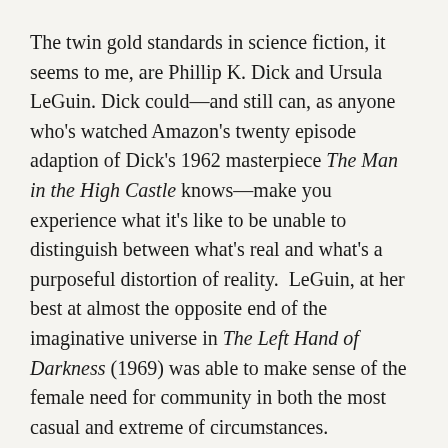The twin gold standards in science fiction, it seems to me, are Phillip K. Dick and Ursula LeGuin. Dick could—and still can, as anyone who's watched Amazon's twenty episode adaption of Dick's 1962 masterpiece The Man in the High Castle knows—make you experience what it's like to be unable to distinguish between what's real and what's a purposeful distortion of reality.  LeGuin, at her best at almost the opposite end of the imaginative universe in The Left Hand of Darkness (1969) was able to make sense of the female need for community in both the most casual and extreme of circumstances.
The purposeful distortion of reality has become, since Dick's time, arguably Western civilization's most pervasive and destructive cultural phenomena, one powerful enough, it now seems, to have elected a man